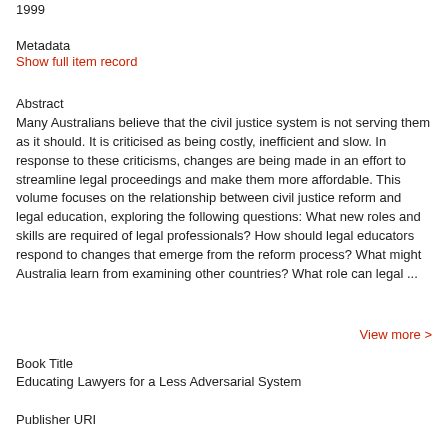1999
Metadata
Show full item record
Abstract
Many Australians believe that the civil justice system is not serving them as it should. It is criticised as being costly, inefficient and slow. In response to these criticisms, changes are being made in an effort to streamline legal proceedings and make them more affordable. This volume focuses on the relationship between civil justice reform and legal education, exploring the following questions: What new roles and skills are required of legal professionals? How should legal educators respond to changes that emerge from the reform process? What might Australia learn from examining other countries? What role can legal ...
View more >
Book Title
Educating Lawyers for a Less Adversarial System
Publisher URI